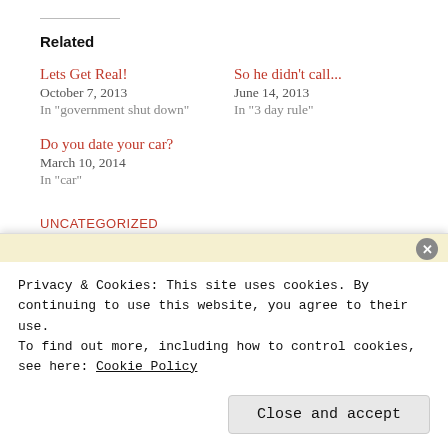Related
Lets Get Real!
October 7, 2013
In "government shut down"
So he didn't call...
June 14, 2013
In "3 day rule"
Do you date your car?
March 10, 2014
In "car"
UNCATEGORIZED
CATHOLIC  CONTRACEPTIVE  FREEDOM OF RELIGION  HUMOR  NUN  OBAMA  OBAMACARE  OPINION
Privacy & Cookies: This site uses cookies. By continuing to use this website, you agree to their use.
To find out more, including how to control cookies, see here: Cookie Policy
Close and accept